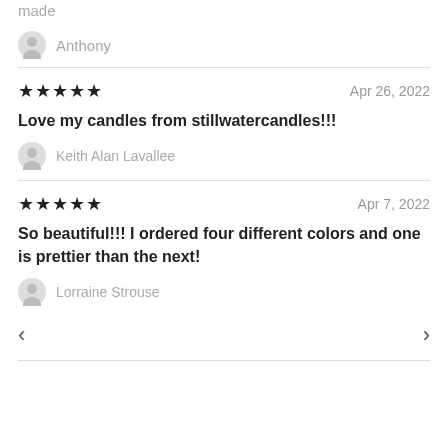made
Anthony
★★★★★  Apr 26, 2022
Love my candles from stillwatercandles!!!
Keith Alan Lavallee
★★★★★  Apr 7, 2022
So beautiful!!! I ordered four different colors and one is prettier than the next!
Lorraine Strouse